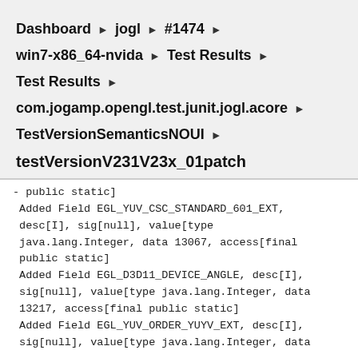Dashboard ▶ jogl ▶ #1474 ▶
win7-x86_64-nvida ▶ Test Results ▶
Test Results ▶
com.jogamp.opengl.test.junit.jogl.acore ▶
TestVersionSemanticsNOUI ▶
testVersionV231V23x_01patch
- public static]
 Added Field EGL_YUV_CSC_STANDARD_601_EXT, desc[I], sig[null], value[type java.lang.Integer, data 13067, access[final public static]
 Added Field EGL_D3D11_DEVICE_ANGLE, desc[I], sig[null], value[type java.lang.Integer, data 13217, access[final public static]
 Added Field EGL_YUV_ORDER_YUYV_EXT, desc[I], sig[null], value[type java.lang.Integer, data